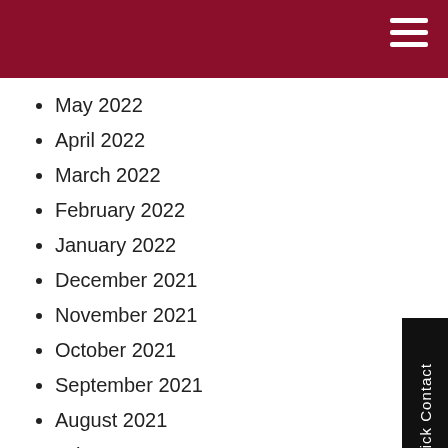May 2022
April 2022
March 2022
February 2022
January 2022
December 2021
November 2021
October 2021
September 2021
August 2021
July 2021
June 2021
May 2021
April 2021
March 2021
February 2021
January 2021
December 2020
November 2020
September 2020